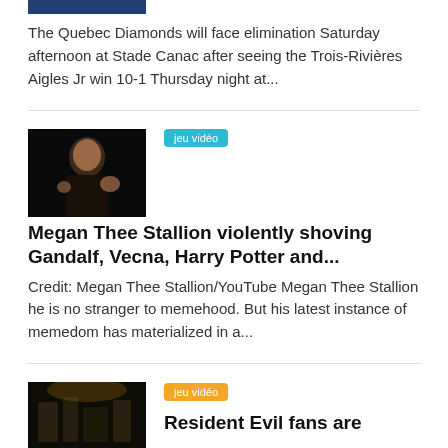[Figure (photo): Partial image at top of page, dark blue tones, person silhouette]
The Quebec Diamonds will face elimination Saturday afternoon at Stade Canac after seeing the Trois-Rivières Aigles Jr win 10-1 Thursday night at...
[Figure (photo): Woman in black top against dark background, arms raised]
jeu vidéo
Megan Thee Stallion violently shoving Gandalf, Vecna, Harry Potter and...
Credit: Megan Thee Stallion/YouTube Megan Thee Stallion he is no stranger to memehood. But his latest instance of memedom has materialized in a...
jeu vidéo
Resident Evil fans are
[Figure (photo): Dark interior scene, dimly lit environment]